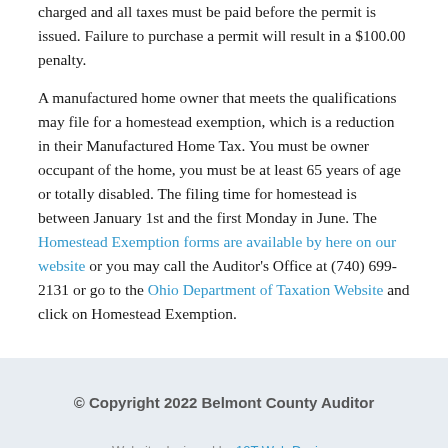charged and all taxes must be paid before the permit is issued. Failure to purchase a permit will result in a $100.00 penalty.
A manufactured home owner that meets the qualifications may file for a homestead exemption, which is a reduction in their Manufactured Home Tax. You must be owner occupant of the home, you must be at least 65 years of age or totally disabled. The filing time for homestead is between January 1st and the first Monday in June. The Homestead Exemption forms are available by here on our website or you may call the Auditor's Office at (740) 699-2131 or go to the Ohio Department of Taxation Website and click on Homestead Exemption.
© Copyright 2022 Belmont County Auditor
Website designed by 10T Web Design.